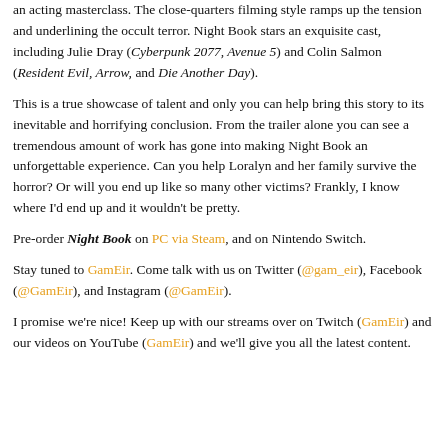an acting masterclass. The close-quarters filming style ramps up the tension and underlining the occult terror. Night Book stars an exquisite cast, including Julie Dray (Cyberpunk 2077, Avenue 5) and Colin Salmon (Resident Evil, Arrow, and Die Another Day).
This is a true showcase of talent and only you can help bring this story to its inevitable and horrifying conclusion. From the trailer alone you can see a tremendous amount of work has gone into making Night Book an unforgettable experience. Can you help Loralyn and her family survive the horror? Or will you end up like so many other victims? Frankly, I know where I'd end up and it wouldn't be pretty.
Pre-order Night Book on PC via Steam, and on Nintendo Switch.
Stay tuned to GamEir. Come talk with us on Twitter (@gam_eir), Facebook (@GamEir), and Instagram (@GamEir).
I promise we're nice! Keep up with our streams over on Twitch (GamEir) and our videos on YouTube (GamEir) and we'll give you all the latest content.